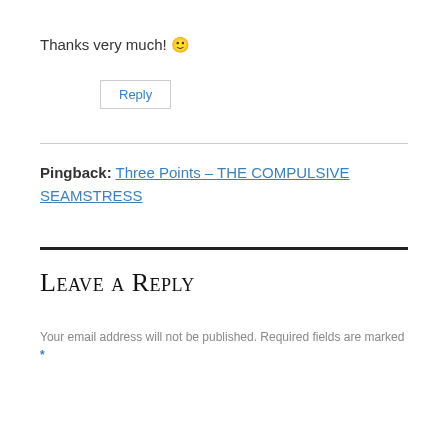Thanks very much! 🙂
Reply
Pingback: Three Points – THE COMPULSIVE SEAMSTRESS
Leave a Reply
Your email address will not be published. Required fields are marked *